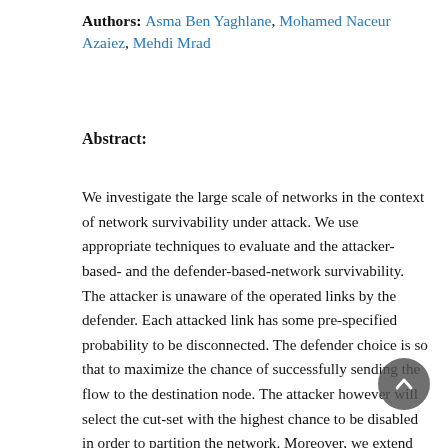Authors: Asma Ben Yaghlane, Mohamed Naceur Azaiez, Mehdi Mrad
Abstract:
We investigate the large scale of networks in the context of network survivability under attack. We use appropriate techniques to evaluate and the attacker-based- and the defender-based-network survivability. The attacker is unaware of the operated links by the defender. Each attacked link has some pre-specified probability to be disconnected. The defender choice is so that to maximize the chance of successfully sending the flow to the destination node. The attacker however will select the cut-set with the highest chance to be disabled in order to partition the network. Moreover, we extend the problem to the case of selecting the best p paths to operate by the defender and the best k cut-sets to select by the attacker from arbitrary interconnected